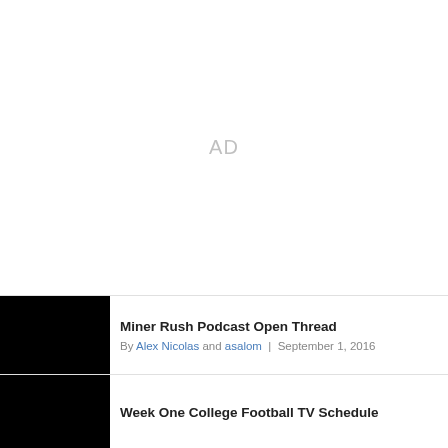[Figure (other): Advertisement placeholder area with 'AD' text centered]
Miner Rush Podcast Open Thread
By Alex Nicolas and asalom | September 1, 2016
[Figure (photo): Black thumbnail image for Miner Rush Podcast Open Thread article]
Week One College Football TV Schedule
[Figure (photo): Black thumbnail image for Week One College Football TV Schedule article]